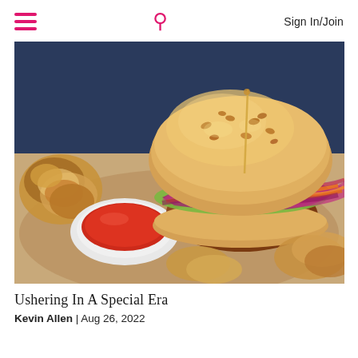≡  🔍  Sign In/Join
[Figure (photo): Close-up food photo of a crispy fried chicken sandwich with colorful slaw (purple cabbage, shredded carrots) on a sesame bun, served on a plate with onion rings and a small bowl of dipping sauce (ketchup/tomato sauce), blurred blue background.]
Ushering In A Special Era
Kevin Allen | Aug 26, 2022